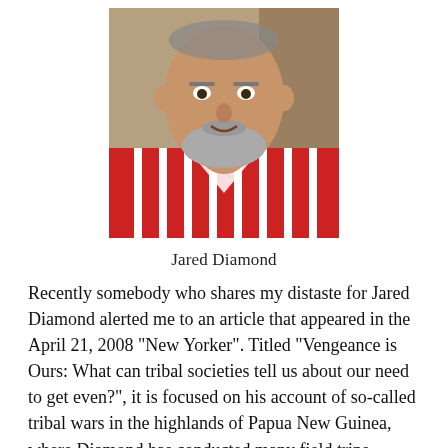[Figure (photo): Photograph of Jared Diamond, an older man with a gray beard wearing a red and white striped shirt, shown from shoulders up, slightly smiling.]
Jared Diamond
Recently somebody who shares my distaste for Jared Diamond alerted me to an article that appeared in the April 21, 2008 “New Yorker”. Titled “Vengeance is Ours: What can tribal societies tell us about our need to get even?”, it is focused on his account of so-called tribal wars in the highlands of Papua New Guinea, where Diamond has conducted many field trips studying the flora and fauna, as